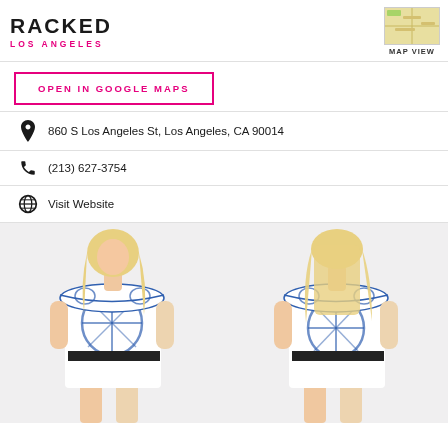RACKED LOS ANGELES
MAP VIEW
OPEN IN GOOGLE MAPS
860 S Los Angeles St, Los Angeles, CA 90014
(213) 627-3754
Visit Website
[Figure (photo): Two views of a blonde model wearing a white and blue tie-dye off-shoulder dress with a black belt: front view on left, back view on right.]